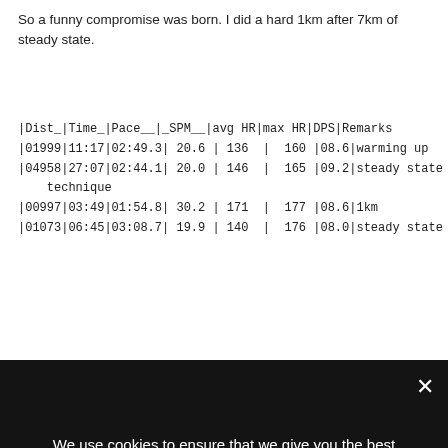So a funny compromise was born. I did a hard 1km after 7km of steady state.
| Dist_ | Time_ | Pace__ | _SPM__ | avg HR | max HR | DPS | Remarks |
| --- | --- | --- | --- | --- | --- | --- | --- |
| 01999 | 11:17 | 02:49.3 | 20.6 | 136 | 160 | 08.6 | warming up |
| 04958 | 27:07 | 02:44.1 | 20.0 | 146 | 165 | 09.2 | steady state - technique |
| 00997 | 03:49 | 01:54.8 | 30.2 | 171 | 177 | 08.6 | 1km |
| 01073 | 06:45 | 03:08.7 | 19.9 | 140 | 176 | 08.0 | steady state - |
We use cookies to ensure that we give you the best experience on our website. If you continue to use this site we will assume that you are happy with it.
Spread the message. Stop the virus.
HANDS Wash often   ELBOW Cough into   FACE Don't touch   SPACE Avoid crowds   HOME Stay inside
1,511,104 Confirmed   328,661 Recovered
I noticed the Garmin app meter counted 9.7km, while I was sure it was closer to 10. The numbers I am quoting here...